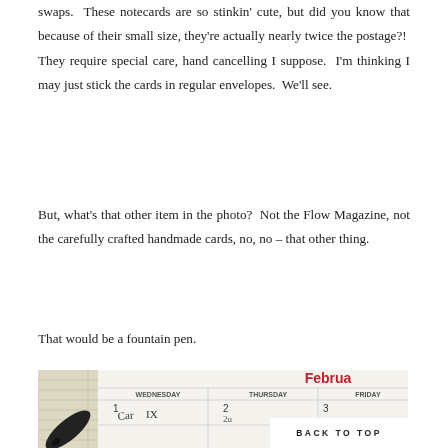swaps.  These notecards are so stinkin' cute, but did you know that because of their small size, they're actually nearly twice the postage?!  They require special care, hand cancelling I suppose.  I'm thinking I may just stick the cards in regular envelopes.  We'll see.
But, what's that other item in the photo?  Not the Flow Magazine, not the carefully crafted handmade cards, no, no – that other thing.
That would be a fountain pen.
[Figure (photo): Photo of a calendar showing February with days Wednesday, Thursday, Friday visible, handwritten notes on the calendar dates 1, 2, 3, 10, with a fountain pen visible at the bottom left. A 'BACK TO TOP' button overlays the bottom right of the image.]